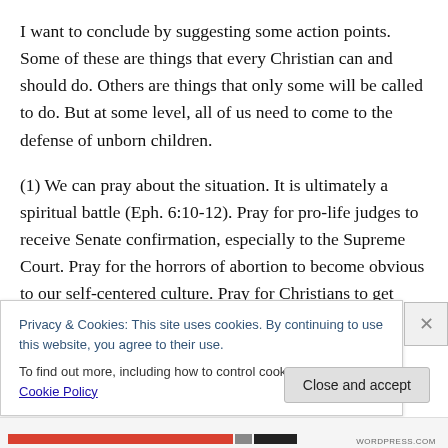I want to conclude by suggesting some action points. Some of these are things that every Christian can and should do. Others are things that only some will be called to do. But at some level, all of us need to come to the defense of unborn children.
(1) We can pray about the situation. It is ultimately a spiritual battle (Eph. 6:10-12). Pray for pro-life judges to receive Senate confirmation, especially to the Supreme Court. Pray for the horrors of abortion to become obvious to our self-centered culture. Pray for Christians to get
Privacy & Cookies: This site uses cookies. By continuing to use this website, you agree to their use.
To find out more, including how to control cookies, see here: Cookie Policy
Close and accept